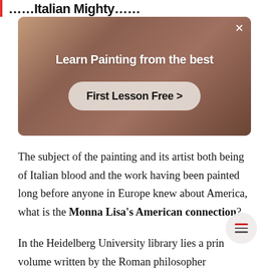...Italian Mighty...
[Figure (screenshot): Advertisement banner: 'Learn Painting from the best' with a 'First Lesson Free >' button over a warm-toned photo of a person painting]
The subject of the painting and its artist both being of Italian blood and the work having been painted long before anyone in Europe knew about America, what is the Monna Lisa's American connection?
In the Heidelberg University library lies a prin volume written by the Roman philosopher Cicero.